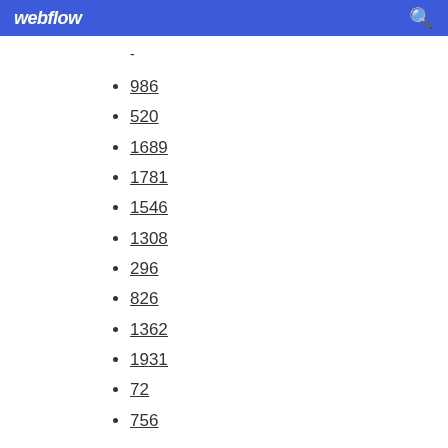webflow
986
520
1689
1781
1546
1308
296
826
1362
1931
72
756